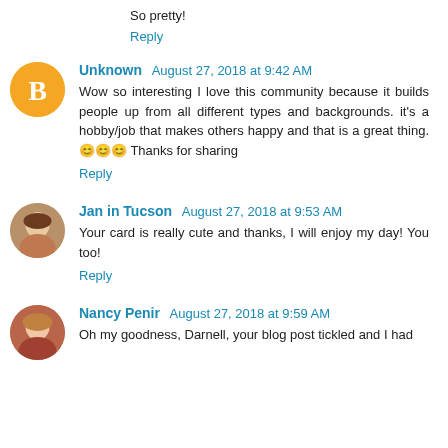So pretty!
Reply
Unknown  August 27, 2018 at 9:42 AM
Wow so interesting I love this community because it builds people up from all different types and backgrounds. it's a hobby/job that makes others happy and that is a great thing. 😊😊😊 Thanks for sharing
Reply
Jan in Tucson  August 27, 2018 at 9:53 AM
Your card is really cute and thanks, I will enjoy my day! You too!
Reply
Nancy Penir  August 27, 2018 at 9:59 AM
Oh my goodness, Darnell, your blog post tickled and I had